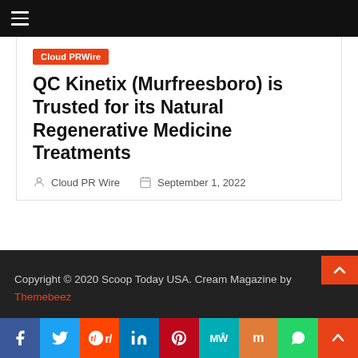≡
Cloud PRWire
QC Kinetix (Murfreesboro) is Trusted for its Natural Regenerative Medicine Treatments
Cloud PR Wire   September 1, 2022
Copyright © 2020 Scoop Today USA. Cream Magazine by Themebeez
[Figure (other): Social media sharing bar with Facebook, Twitter, Reddit, LinkedIn, Pinterest, MeWe, Mix, WhatsApp icons and scroll-to-top button]